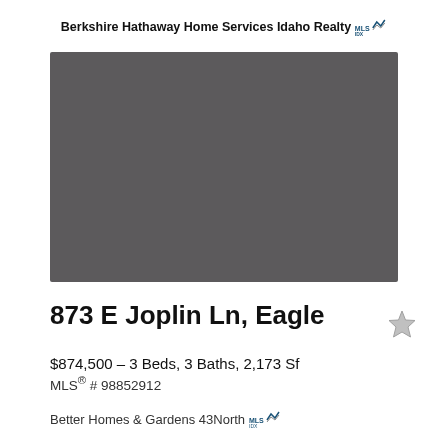Berkshire Hathaway Home Services Idaho Realty
[Figure (photo): Property photo placeholder — solid dark gray rectangle representing a home exterior image]
873 E Joplin Ln, Eagle
$874,500 – 3 Beds, 3 Baths, 2,173 Sf
MLS® # 98852912
Better Homes & Gardens 43North